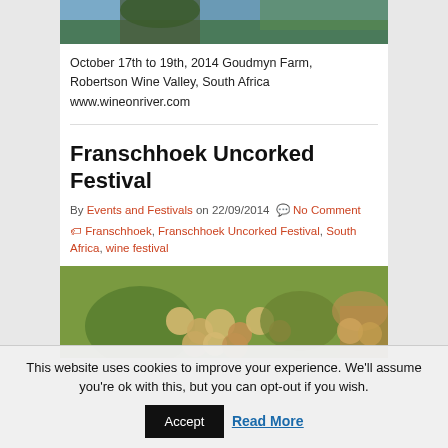[Figure (photo): Partial photo of a river or lake scene with trees and water, cropped at top]
October 17th to 19th, 2014 Goudmyn Farm, Robertson Wine Valley, South Africa www.wineonriver.com
Franschhoek Uncorked Festival
By Events and Festivals on 22/09/2014  No Comment
Franschhoek, Franschhoek Uncorked Festival, South Africa, wine festival
[Figure (photo): Close-up photo of light-coloured grapes on a vine with green leaves in background]
This website uses cookies to improve your experience. We'll assume you're ok with this, but you can opt-out if you wish. Accept  Read More